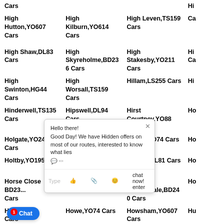Cars
High Hutton,YO607 Cars
High Kilburn,YO614 Cars
High Leven,TS159 Cars
High Shaw,DL83 Cars
High Skyreholme,BD236 Cars
High Stakesby,YO211 Cars
High Swinton,HG44 Cars
High Worsall,TS159 Cars
Hillam,LS255 Cars
Hinderwell,TS135 Cars
Hipswell,DL94 Cars
Hirst Courtney,YO88 Cars
Holgate,YO244 Cars
Holly Hill,DL104 Cars
Holme,YO74 Cars
Holtby,YO195 Cars
Hopperton,HG58 Cars
Hornby,DL81 Cars
Horse Close BD23... Cars
Horsehouse,DL84 Cars
Horton in Ribblesdale,BD240 Cars
Hovingham... Cars
Howe,YO74 Cars
Howsham,YO607 Cars
Huby,L... Cars
Huby,YO611 Cars
Hudswell,DL116 Cars
Hunmanby Moor,YO149 Cars
Hunsingore,LS225 Cars
Hurgill,DL104 Cars
Hurst,DL117 Cars
Hutton Bonville,DL70
Hutton Buscel,YO139